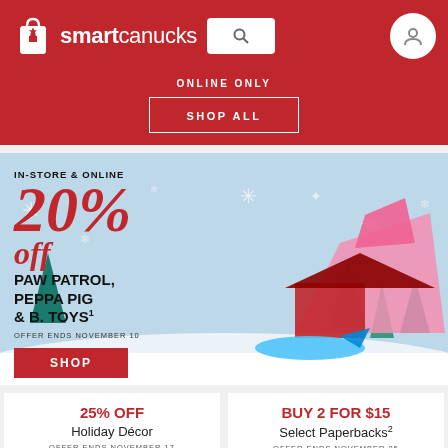smartcanucks
ONLINE ONLY
SHOP ALL
[Figure (infographic): Toy sale promotional banner with winter/snow background. Shows '20% off' in large red italic text, with text 'IN-STORE & ONLINE', 'PAW PATROL, PEPPA PIG & B. TOYS', 'OFFER ENDS NOVEMBER 10', a red SHOP button, and toy product images on the right side.]
25% OFF Holiday Décor OFFER ENDS NOVEMBER 17
BUY 2 FOR $15 Select Paperbacks² OFFER ENDS NOVEMBER 25